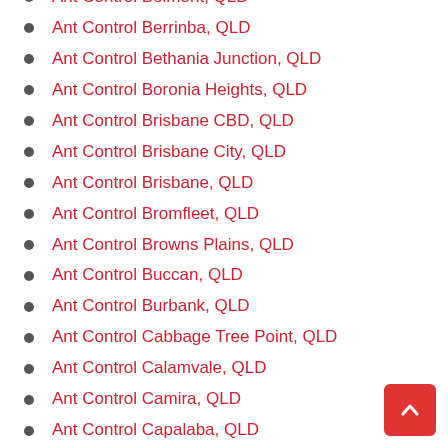Ant Control Belmont, QLD
Ant Control Berrinba, QLD
Ant Control Bethania Junction, QLD
Ant Control Boronia Heights, QLD
Ant Control Brisbane CBD, QLD
Ant Control Brisbane City, QLD
Ant Control Brisbane, QLD
Ant Control Bromfleet, QLD
Ant Control Browns Plains, QLD
Ant Control Buccan, QLD
Ant Control Burbank, QLD
Ant Control Cabbage Tree Point, QLD
Ant Control Calamvale, QLD
Ant Control Camira, QLD
Ant Control Capalaba, QLD